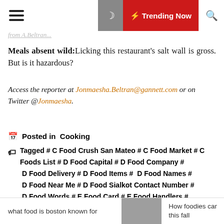Trending Now
from A.Beltran...
Meals absent wild: Licking this restaurant's salt wall is gross. But is it hazardous?
Access the reporter at Jonmaesha.Beltran@gannett.com or on Twitter @Jonmaesha.
Posted in Cooking
Tagged # C Food Crush San Mateo # C Food Market # C Foods List # D Food Capital # D Food Company # D Food Delivery # D Food Items # D Food Names # D Food Near Me # D Food Sialkot Contact Number # D Food Words # E Food Card # E Food Handlers # E Food Handlers Card Arizona # E Food Handlers Card California # E Food Words # E Foodie # E Foods Inc # E Foods Names #
what food is boston known for | How foodies can this fall